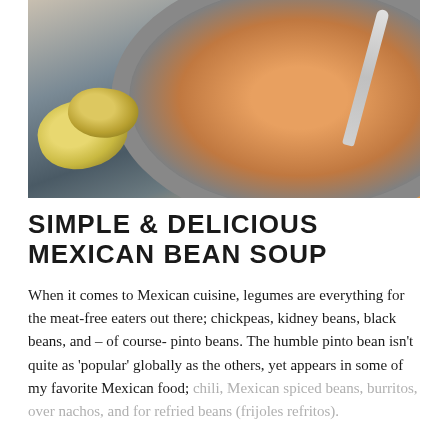[Figure (photo): Overhead photo of a stone/ceramic bowl containing orange-red bean soup, with tortilla chips beside it on a dark slate surface, and a silver spoon resting in the bowl.]
SIMPLE & DELICIOUS MEXICAN BEAN SOUP
When it comes to Mexican cuisine, legumes are everything for the meat-free eaters out there; chickpeas, kidney beans, black beans, and – of course- pinto beans. The humble pinto bean isn't quite as 'popular' globally as the others, yet appears in some of my favorite Mexican food; chili, Mexican spiced beans, burritos, over nachos, and for refried beans (frijoles refritos).